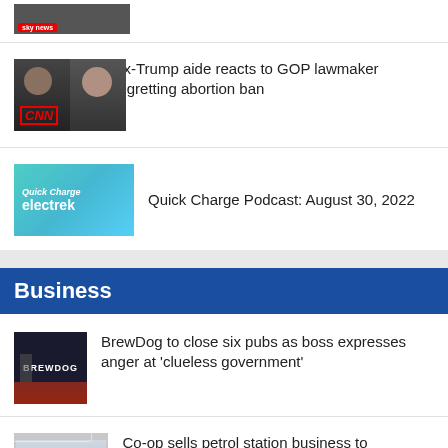[Figure (screenshot): Partial Sky News thumbnail at top]
[Figure (screenshot): CNN thumbnail showing two anchors with CNN logo]
Ex-Trump aide reacts to GOP lawmaker regretting abortion ban
[Figure (screenshot): Quick Charge electrek podcast thumbnail]
Quick Charge Podcast: August 30, 2022
Business
[Figure (photo): BrewDog pub storefront at night]
BrewDog to close six pubs as boss expresses anger at ‘clueless government’
[Figure (photo): Co-op petrol station]
Co-op sells petrol station business to supermarket giant